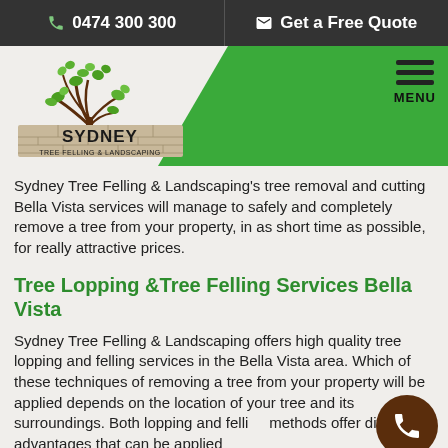📞 0474 300 300  ✉ Get a Free Quote
[Figure (logo): Sydney Tree Felling & Landscaping logo with tree illustration and text on stone/brick background]
Sydney Tree Felling & Landscaping's tree removal and cutting Bella Vista services will manage to safely and completely remove a tree from your property, in as short time as possible, for really attractive prices.
Tree Lopping &Tree Felling Services Bella Vista
Sydney Tree Felling & Landscaping offers high quality tree lopping and felling services in the Bella Vista area. Which of these techniques of removing a tree from your property will be applied depends on the location of your tree and its surroundings. Both lopping and felling methods offer different advantages that can be applied